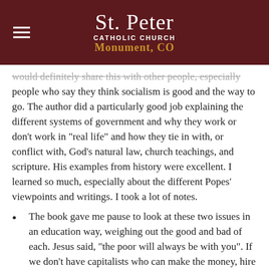St. Peter CATHOLIC CHURCH Monument, CO
would definitely share this with other people, especially people who say they think socialism is good and the way to go. The author did a particularly good job explaining the different systems of government and why they work or don't work in "real life" and how they tie in with, or conflict with, God's natural law, church teachings, and scripture.  His examples from history were excellent.  I learned so much, especially about the different Popes' viewpoints and writings. I took a lot of notes.
The book gave me pause to look at these two issues in an education way, weighing out the good and bad of each.  Jesus said, “the poor will always be with you".  If we don’t have capitalists who can make the money, hire workers who in turn can support their families and keep the economy going and help those who find themselves in bad times and in need, unable to pull themselves up; we will ALL be wanting with no desire to better ourselves or help others because the government will demand we all work for the same wage and will in turn give us just